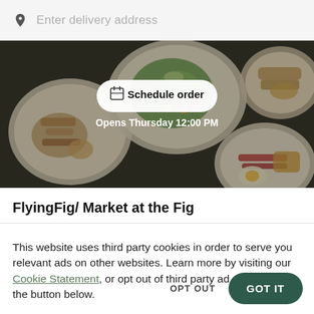Enter delivery address
[Figure (photo): Food delivery app hero image showing plates of food including salads and other dishes, with a dark overlay. A white pill-shaped 'Schedule order' button is centered on the image, and white text below reads 'Opens Thursday 12:00 PM'.]
FlyingFig/ Market at the Fig
This website uses third party cookies in order to serve you relevant ads on other websites. Learn more by visiting our Cookie Statement, or opt out of third party ad cookies using the button below.
OPT OUT
GOT IT